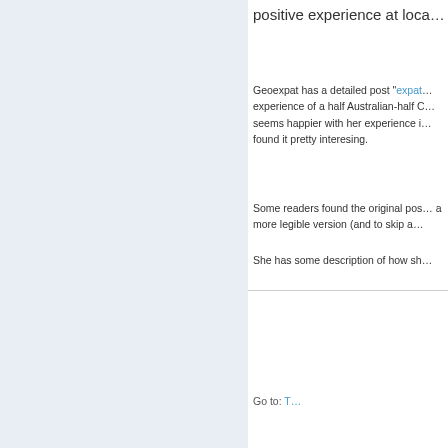positive experience at loca…
Geoexpat has a detailed post "expat…" experience of a half Australian-half C… seems happier with her experience i… found it pretty interesing.
Some readers found the original pos… a more legible version (and to skip a…
She has some description of how sh…
Go to: T…